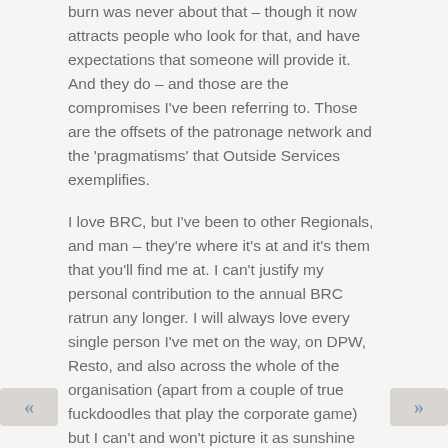burn was never about that – though it now attracts people who look for that, and have expectations that someone will provide it. And they do – and those are the compromises I've been referring to. Those are the offsets of the patronage network and the 'pragmatisms' that Outside Services exemplifies.
I love BRC, but I've been to other Regionals, and man – they're where it's at and it's them that you'll find me at. I can't justify my personal contribution to the annual BRC ratrun any longer. I will always love every single person I've met on the way, on DPW, Resto, and also across the whole of the organisation (apart from a couple of true fuckdoodles that play the corporate game) but I can't and won't picture it as sunshine and love in the dust when I know first-hand how much money's involved and how fucked over the Davita